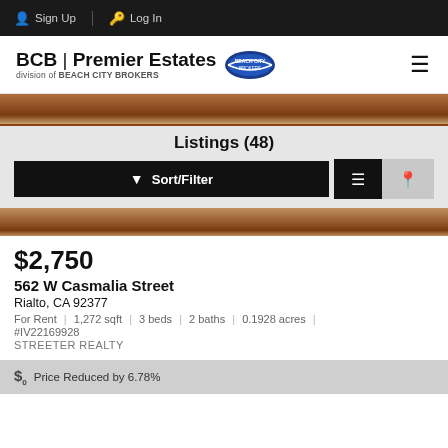Sign Up  Log In
[Figure (logo): BCB Premier Estates logo with Beach City Brokers badge and hamburger menu icon]
Listings (48)
[Figure (screenshot): Sort/Filter button and list/map view toggle buttons]
[Figure (photo): Property photo showing wood floors/interior]
$2,750
562 W Casmalia Street
Rialto, CA 92377
For Rent  |  1,272 sqft  |  3 beds  |  2 baths  |  0.1928 acres  |  #IV22169928
STREETER REALTY
Price Reduced by 6.78%